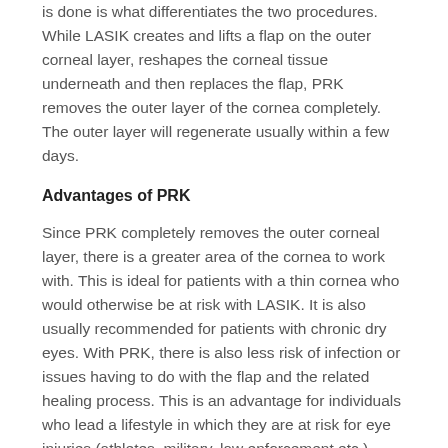is done is what differentiates the two procedures. While LASIK creates and lifts a flap on the outer corneal layer, reshapes the corneal tissue underneath and then replaces the flap, PRK removes the outer layer of the cornea completely. The outer layer will regenerate usually within a few days.
Advantages of PRK
Since PRK completely removes the outer corneal layer, there is a greater area of the cornea to work with. This is ideal for patients with a thin cornea who would otherwise be at risk with LASIK. It is also usually recommended for patients with chronic dry eyes. With PRK, there is also less risk of infection or issues having to do with the flap and the related healing process. This is an advantage for individuals who lead a lifestyle in which they are at risk for eye injuries (athletes, military, law enforcement etc.) which may subject the flap to injury or complications.
So, Why Is LASIK More Popular?
The main advantages that LASIK has over PRK are two-fold and mainly have to do with comfort and recovery time. First of all, PRK